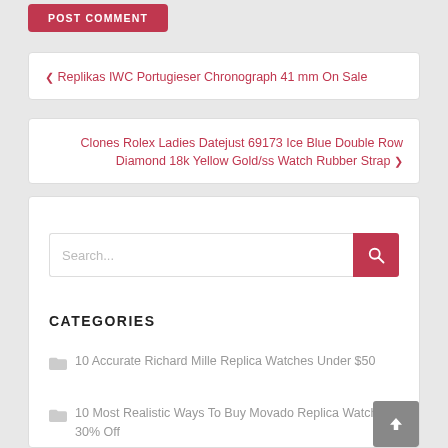POST COMMENT
❮ Replikas IWC Portugieser Chronograph 41 mm On Sale
Clones Rolex Ladies Datejust 69173 Ice Blue Double Row Diamond 18k Yellow Gold/ss Watch Rubber Strap ❯
Search...
CATEGORIES
10 Accurate Richard Mille Replica Watches Under $50
10 Most Realistic Ways To Buy Movado Replica Watches 30% Off